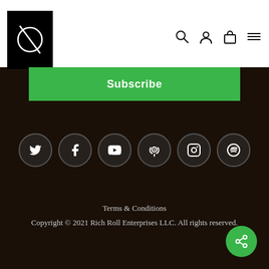[Figure (logo): Rich Roll logo: black square with white circular crossed lines symbol]
[Figure (infographic): Navigation icons: search (magnifying glass), account (person), cart (bag), menu (hamburger lines)]
Subscribe
[Figure (infographic): Social media icon row: Twitter, Facebook, YouTube, Podcast, Instagram, Spotify — each in a dark circle with border]
Terms & Conditions
Copyright © 2021 Rich Roll Enterprises LLC. All rights reserved.
[Figure (infographic): Green circular share button with share icon (circle with arrows)]